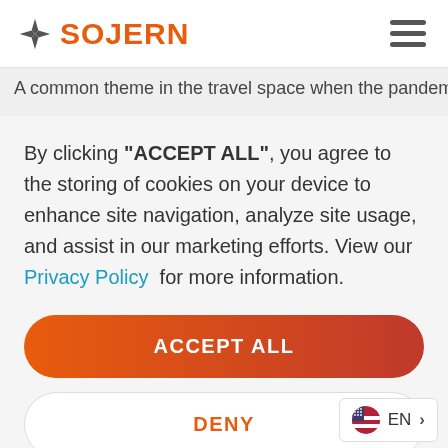SOJERN
A common theme in the travel space when the pandemic hit
By clicking "ACCEPT ALL", you agree to the storing of cookies on your device to enhance site navigation, analyze site usage, and assist in our marketing efforts. View our Privacy Policy for more information.
ACCEPT ALL
DENY
Preferences
EN